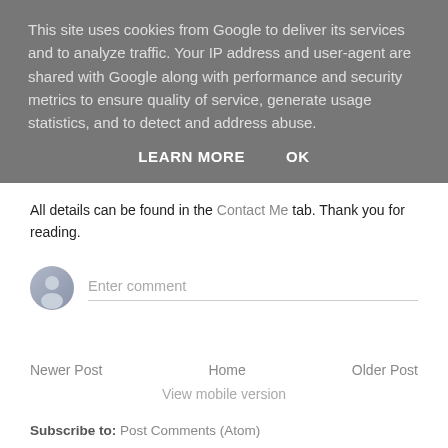This site uses cookies from Google to deliver its services and to analyze traffic. Your IP address and user-agent are shared with Google along with performance and security metrics to ensure quality of service, generate usage statistics, and to detect and address abuse.
LEARN MORE   OK
All details can be found in the Contact Me tab. Thank you for reading.
[Figure (other): User avatar icon - grey silhouette circle]
Enter comment
Newer Post
Home
Older Post
View mobile version
Subscribe to: Post Comments (Atom)